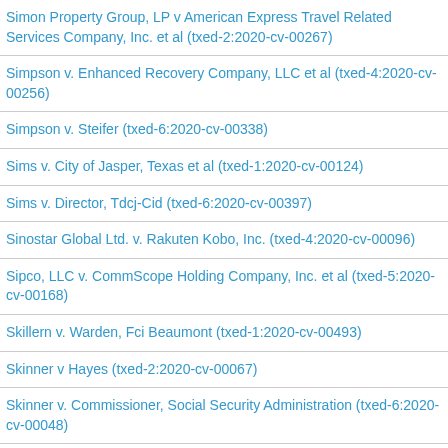Simon Property Group, LP v American Express Travel Related Services Company, Inc. et al (txed-2:2020-cv-00267)
Simpson v. Enhanced Recovery Company, LLC et al (txed-4:2020-cv-00256)
Simpson v. Steifer (txed-6:2020-cv-00338)
Sims v. City of Jasper, Texas et al (txed-1:2020-cv-00124)
Sims v. Director, Tdcj-Cid (txed-6:2020-cv-00397)
Sinostar Global Ltd. v. Rakuten Kobo, Inc. (txed-4:2020-cv-00096)
Sipco, LLC v. CommScope Holding Company, Inc. et al (txed-5:2020-cv-00168)
Skillern v. Warden, Fci Beaumont (txed-1:2020-cv-00493)
Skinner v Hayes (txed-2:2020-cv-00067)
Skinner v. Commissioner, Social Security Administration (txed-6:2020-cv-00048)